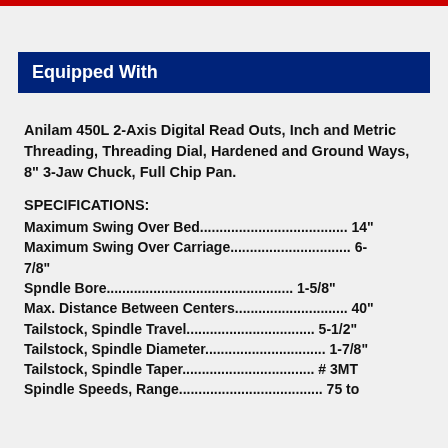Equipped With
Anilam 450L 2-Axis Digital Read Outs, Inch and Metric Threading, Threading Dial, Hardened and Ground Ways, 8" 3-Jaw Chuck, Full Chip Pan.
SPECIFICATIONS:
Maximum Swing Over Bed............................................. 14"
Maximum Swing Over Carriage..................................... 6-7/8"
Spndle Bore..................................................... 1-5/8"
Max. Distance Between Centers................................... 40"
Tailstock, Spindle Travel....................................... 5-1/2"
Tailstock, Spindle Diameter..................................... 1-7/8"
Tailstock, Spindle Taper........................................ # 3MT
Spindle Speeds, Range........................................... 75 to